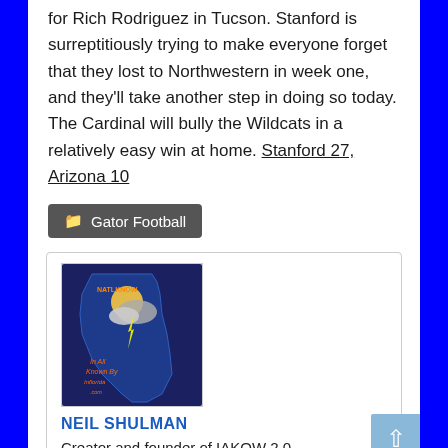for Rich Rodriguez in Tucson. Stanford is surreptitiously trying to make everyone forget that they lost to Northwestern in week one, and they'll take another step in doing so today. The Cardinal will bully the Wildcats in a relatively easy win at home. Stanford 27, Arizona 10
Gator Football
[Figure (illustration): Florida state map logo with weather imagery, text 'In All Known By Florida' and website URL, in blue and orange colors]
NEIL SHULMAN
Creator and founder of IAKOW 2.0
[Figure (illustration): Globe/world icon in blue]